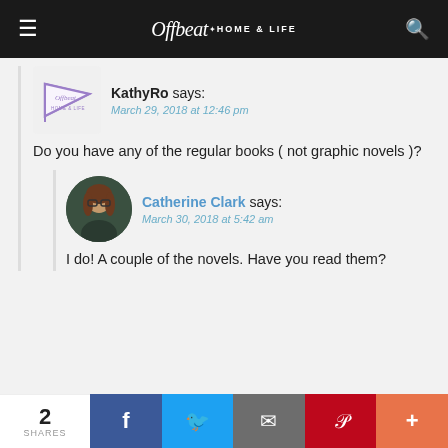Offbeat Home & Life
KathyRo says:
March 29, 2018 at 12:46 pm

Do you have any of the regular books ( not graphic novels )?
Catherine Clark says:
March 30, 2018 at 5:42 am

I do! A couple of the novels. Have you read them?
2 SHARES  Facebook  Twitter  Email  Pinterest  More